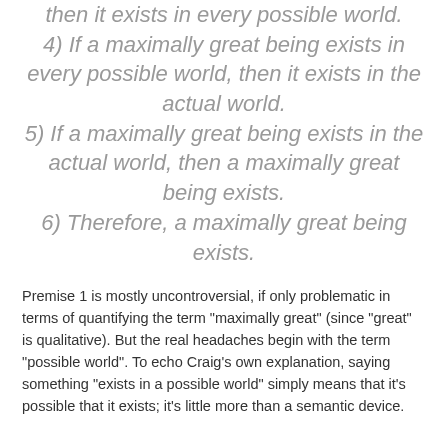then it exists in every possible world.
4) If a maximally great being exists in every possible world, then it exists in the actual world.
5) If a maximally great being exists in the actual world, then a maximally great being exists.
6) Therefore, a maximally great being exists.
Premise 1 is mostly uncontroversial, if only problematic in terms of quantifying the term "maximally great" (since "great" is qualitative). But the real headaches begin with the term "possible world". To echo Craig's own explanation, saying something "exists in a possible world" simply means that it's possible that it exists; it's little more than a semantic device.